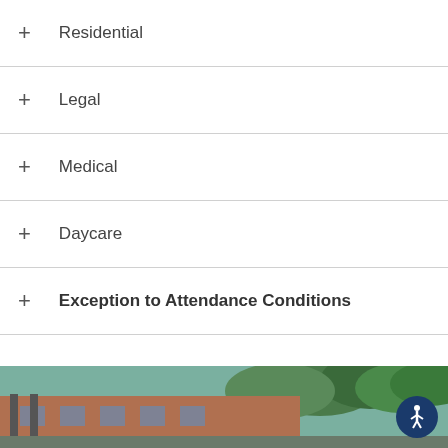+ Residential
+ Legal
+ Medical
+ Daycare
+ Exception to Attendance Conditions
[Figure (photo): Exterior photo of a school or educational building with brick facade and trees in background]